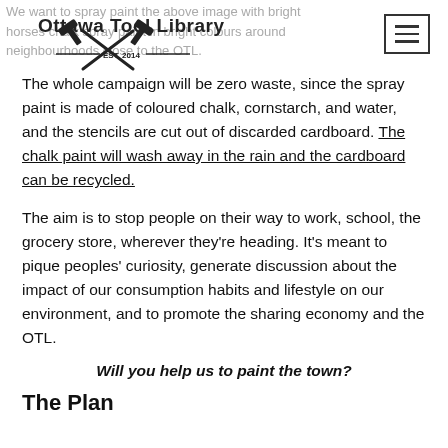Ottawa Tool Library — EST. 2014
We want to spray paint the above image with bright horses chalk spray paint in bright colours around neighbourhoods close to the OTL.
The whole campaign will be zero waste, since the spray paint is made of coloured chalk, cornstarch, and water, and the stencils are cut out of discarded cardboard. The chalk paint will wash away in the rain and the cardboard can be recycled.
The aim is to stop people on their way to work, school, the grocery store, wherever they're heading. It's meant to pique peoples' curiosity, generate discussion about the impact of our consumption habits and lifestyle on our environment, and to promote the sharing economy and the OTL.
Will you help us to paint the town?
The Plan